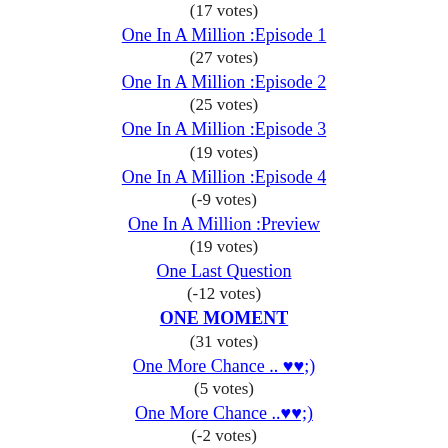(17 votes)
One In A Million :Episode 1
(27 votes)
One In A Million :Episode 2
(25 votes)
One In A Million :Episode 3
(19 votes)
One In A Million :Episode 4
(-9 votes)
One In A Million :Preview
(19 votes)
One Last Question
(-12 votes)
ONE MOMENT
(31 votes)
One More Chance .. ♥♥;)
(5 votes)
One More Chance ..♥♥;)
(-2 votes)
One More Chance ..♥♥;) Pt. 2
(36 votes)
One More Chance ..♥♥;) Pt. 3
(2 votes)
One More Chance..♥♥;) Pt. 10
(22 votes)